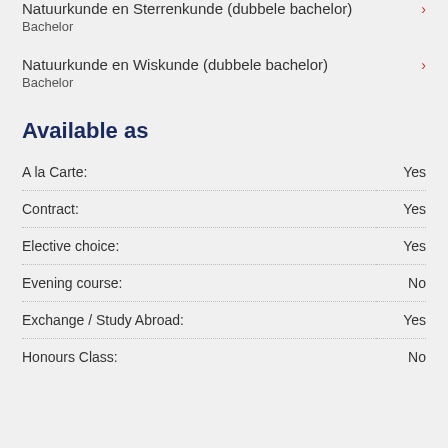Natuurkunde en Sterrenkunde (dubbele bachelor) Bachelor
Natuurkunde en Wiskunde (dubbele bachelor) Bachelor
Available as
|  |  |
| --- | --- |
| A la Carte: | Yes |
| Contract: | Yes |
| Elective choice: | Yes |
| Evening course: | No |
| Exchange / Study Abroad: | Yes |
| Honours Class: | No |